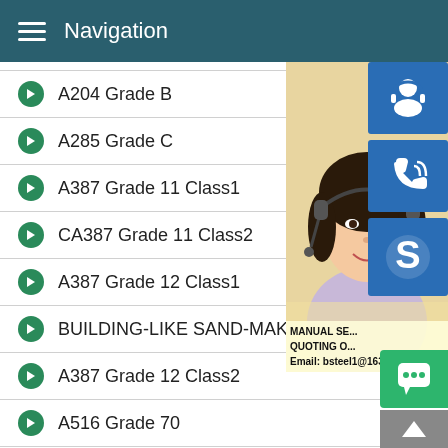Navigation
A204 Grade B
A285 Grade C
A387 Grade 11 Class1
CA387 Grade 11 Class2
A387 Grade 12 Class1
BUILDING-LIKE SAND-MAKER
A387 Grade 12 Class2
A516 Grade 70
A537 Class 1
P235GH
50CrMo4
[Figure (photo): Customer service representative woman with headset, with contact widgets overlaid showing headset icon, phone icon, Skype icon, and text: MANUAL SE... QUOTING O... Email: bsteel1@163.com]